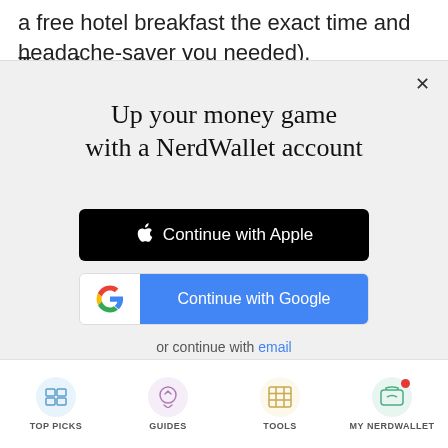a free hotel breakfast the exact time and headache-saver you needed).
Transfer partners
Up your money game with a NerdWallet account
Continue with Apple
Continue with Google
or continue with email
By signing up, I agree to NerdWallet's Terms of Service and Privacy Policy.
TOP PICKS   GUIDES   TOOLS   MY NERDWALLET